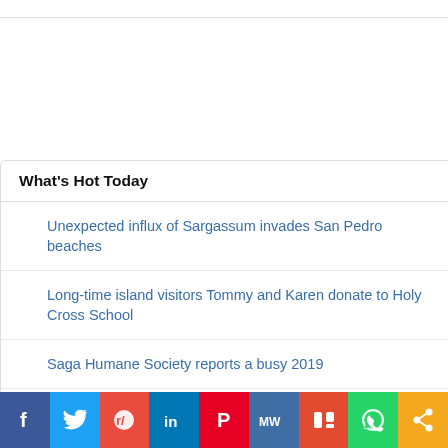What's Hot Today
Unexpected influx of Sargassum invades San Pedro beaches
Long-time island visitors Tommy and Karen donate to Holy Cross School
Saga Humane Society reports a busy 2019
Hermit Crabs Form Sophisticated Social Networks
Belizean artist helps complete mural honouring the life of George Floyd
[Figure (illustration): Colorful food illustration on yellow background with drinks, ice cream, and a cartoon alarm clock]
Facebook | Twitter | Reddit | LinkedIn | Pinterest | MW | Mix | WhatsApp | Share